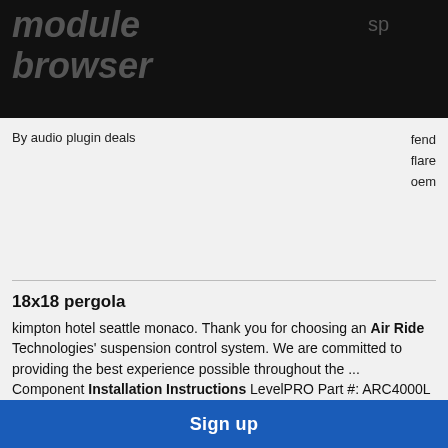module browser
By audio plugin deals
fend flare oem
18x18 pergola
kimpton hotel seattle monaco. Thank you for choosing an Air Ride Technologies' suspension control system. We are committed to providing the best experience possible throughout the ... Component Installation Instructions LevelPRO Part #: ARC4000L ARC4100L ARC4700L ARC4800L & RidePRO e2 Part #: ARC4000e2 ARC4100e2 ARC4700e2 ARC4800e2. Fropky..
Sign up